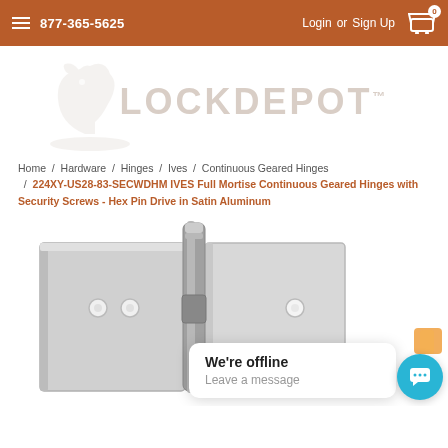877-365-5625  Login or Sign Up  Cart: 0
[Figure (logo): LockDepot logo with knight chess piece watermark and LOCKDEPOT text in light gray]
Home / Hardware / Hinges / Ives / Continuous Geared Hinges / 224XY-US28-83-SECWDHM IVES Full Mortise Continuous Geared Hinges with Security Screws - Hex Pin Drive in Satin Aluminum
[Figure (photo): Close-up photo of a satin aluminum full mortise continuous geared hinge with security screw holes visible]
We're offline
Leave a message